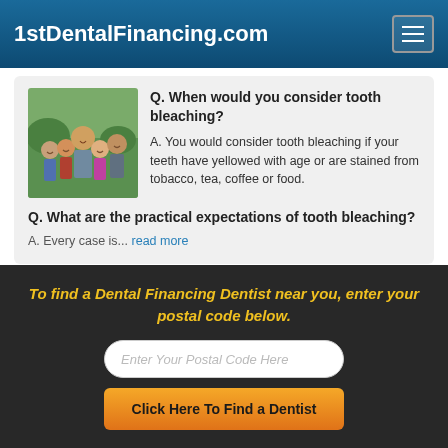1stDentalFinancing.com
Q. When would you consider tooth bleaching?
A. You would consider tooth bleaching if your teeth have yellowed with age or are stained from tobacco, tea, coffee or food.
[Figure (photo): Family photo with adults and children smiling together]
Q. What are the practical expectations of tooth bleaching?
A. Every case is... read more
To find a Dental Financing Dentist near you, enter your postal code below.
Enter Your Postal Code Here
Click Here To Find a Dentist